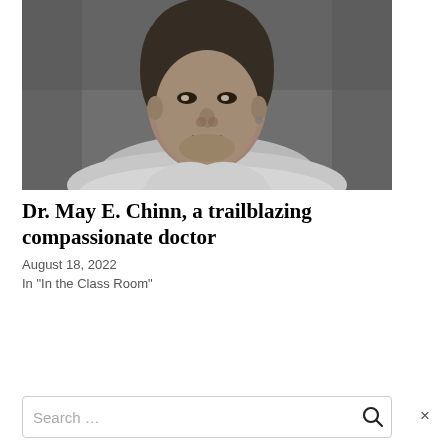[Figure (photo): Black and white portrait photograph of Dr. May E. Chinn, showing her face and upper body, looking directly at the camera with a neutral expression.]
Dr. May E. Chinn, a trailblazing compassionate doctor
August 18, 2022
In "In the Class Room"